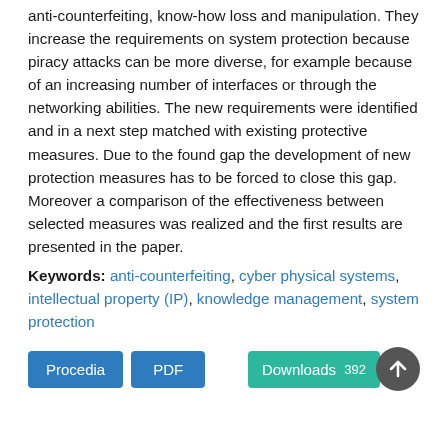anti-counterfeiting, know-how loss and manipulation. They increase the requirements on system protection because piracy attacks can be more diverse, for example because of an increasing number of interfaces or through the networking abilities. The new requirements were identified and in a next step matched with existing protective measures. Due to the found gap the development of new protection measures has to be forced to close this gap. Moreover a comparison of the effectiveness between selected measures was realized and the first results are presented in the paper.
Keywords: anti-counterfeiting, cyber physical systems, intellectual property (IP), knowledge management, system protection